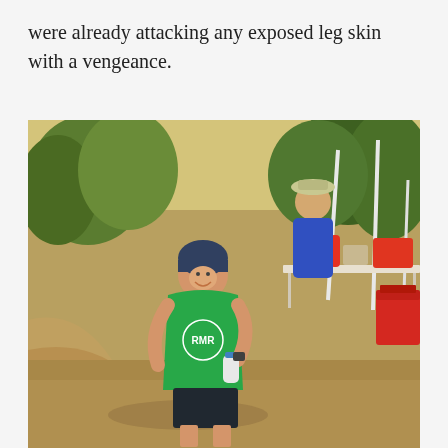were already attacking any exposed leg skin with a vengeance.
[Figure (photo): A smiling woman wearing a green RMR t-shirt and a dark beanie hat, holding a bottle, standing on a dirt trail. She is at a trail running aid station with a table, cooler, and supplies visible behind her. Another person in a blue jacket and hat stands in the background.]